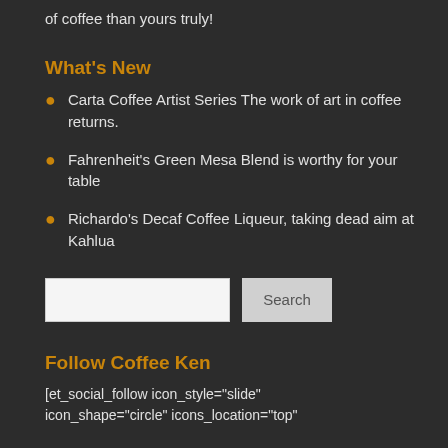of coffee than yours truly!
What's New
Carta Coffee Artist Series The work of art in coffee returns.
Fahrenheit's Green Mesa Blend is worthy for your table
Richardo's Decaf Coffee Liqueur, taking dead aim at Kahlua
Follow Coffee Ken
[et_social_follow icon_style="slide" icon_shape="circle" icons_location="top"